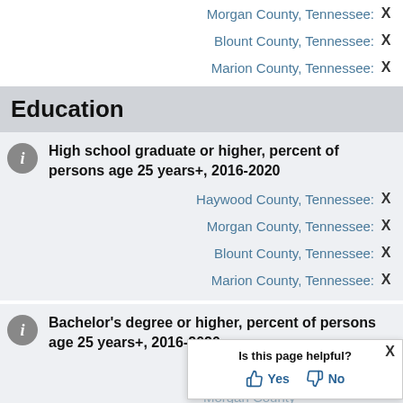Morgan County, Tennessee: X
Blount County, Tennessee: X
Marion County, Tennessee: X
Education
High school graduate or higher, percent of persons age 25 years+, 2016-2020
Haywood County, Tennessee: X
Morgan County, Tennessee: X
Blount County, Tennessee: X
Marion County, Tennessee: X
Bachelor's degree or higher, percent of persons age 25 years+, 2016-2020
Haywood County, Tennessee: X
Morgan County, Tennessee: X
[Figure (other): Is this page helpful? Yes / No popup dialog]